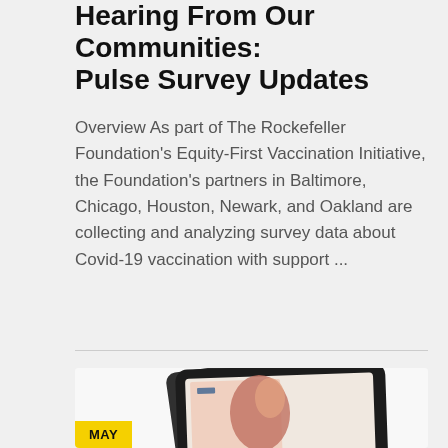Hearing From Our Communities: Pulse Survey Updates
Overview As part of The Rockefeller Foundation's Equity-First Vaccination Initiative, the Foundation's partners in Baltimore, Chicago, Houston, Newark, and Oakland are collecting and analyzing survey data about Covid-19 vaccination with support ...
[Figure (photo): A tablet device displaying a report cover with an image of people and text about Equity-First Vaccination Initiative. A yellow MAY badge is in the bottom-left corner of the card.]